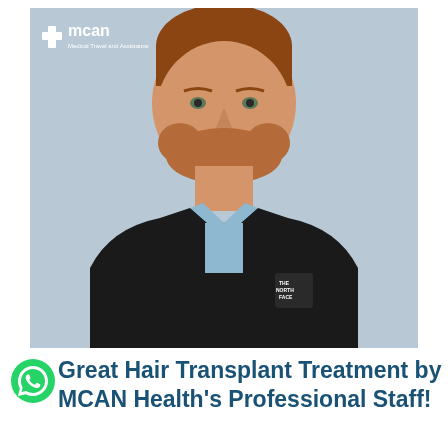[Figure (photo): Portrait photo of a man with short reddish hair and beard wearing a black North Face fleece jacket over a light blue shirt, standing against a light blue/grey background. MCAN Medical Travel and Assistance logo is visible in the top left corner of the photo.]
Great Hair Transplant Treatment by MCAN Health's Professional Staff!